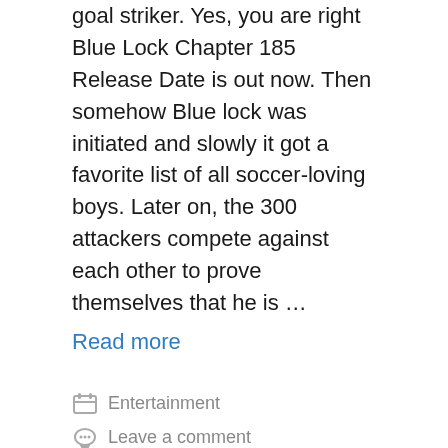goal striker. Yes, you are right Blue Lock Chapter 185 Release Date is out now. Then somehow Blue lock was initiated and slowly it got a favorite list of all soccer-loving boys. Later on, the 300 attackers compete against each other to prove themselves that he is …
Read more
Entertainment
Leave a comment
Mercenary Enrollment Chapter 99 Release Date, Online Manga